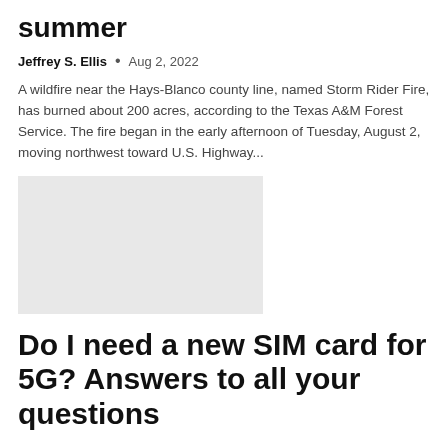summer
Jeffrey S. Ellis  •  Aug 2, 2022
A wildfire near the Hays-Blanco county line, named Storm Rider Fire, has burned about 200 acres, according to the Texas A&M Forest Service. The fire began in the early afternoon of Tuesday, August 2, moving northwest toward U.S. Highway...
[Figure (photo): Placeholder image in light gray]
Do I need a new SIM card for 5G? Answers to all your questions